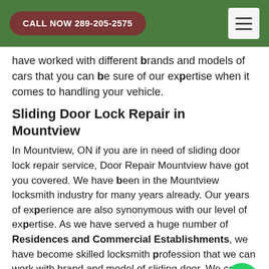CALL NOW 289-205-2575
have worked with different brands and models of cars that you can be sure of our expertise when it comes to handling your vehicle.
Sliding Door Lock Repair in Mountview
In Mountview, ON if you are in need of sliding door lock repair service, Door Repair Mountview have got you covered. We have been in the Mountview locksmith industry for many years already. Our years of experience are also synonymous with our level of expertise. As we have served a huge number of Residences and Commercial Establishments, we have become skilled locksmith profession that we can work with brand and model of sliding door. We can proce...